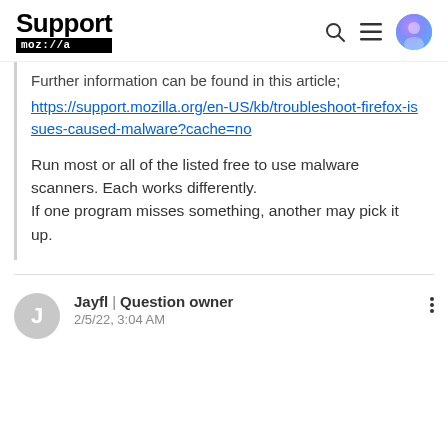Support mozilla:// [navigation icons]
Further information can be found in this article; https://support.mozilla.org/en-US/kb/troubleshoot-firefox-issues-caused-malware?cache=no
Run most or all of the listed free to use malware scanners. Each works differently.
If one program misses something, another may pick it up.
Jayfl | Question owner
2/5/22, 3:04 AM